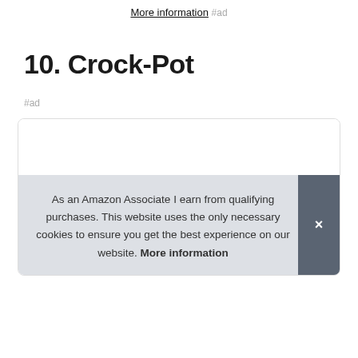More information #ad
10. Crock-Pot
#ad
[Figure (photo): Product image card with rounded border containing a partially visible image of a Crock-Pot at the bottom]
As an Amazon Associate I earn from qualifying purchases. This website uses the only necessary cookies to ensure you get the best experience on our website. More information